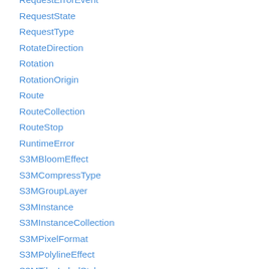RequestErrorEvent
RequestState
RequestType
RotateDirection
Rotation
RotationOrigin
Route
RouteCollection
RouteStop
RuntimeError
S3MBloomEffect
S3MCompressType
S3MGroupLayer
S3MInstance
S3MInstanceCollection
S3MPixelFormat
S3MPolylineEffect
S3MTilesLabelStyle
S3MTilesLayer
SampledPositionProperty